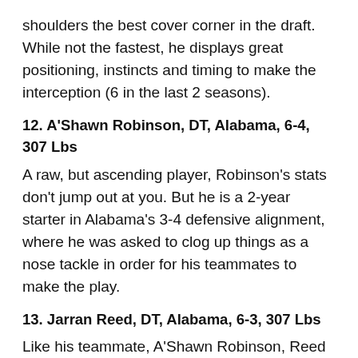shoulders the best cover corner in the draft. While not the fastest, he displays great positioning, instincts and timing to make the interception (6 in the last 2 seasons).
12. A'Shawn Robinson, DT, Alabama, 6-4, 307 Lbs
A raw, but ascending player, Robinson's stats don't jump out at you. But he is a 2-year starter in Alabama's 3-4 defensive alignment, where he was asked to clog up things as a nose tackle in order for his teammates to make the play.
13. Jarran Reed, DT, Alabama, 6-3, 307 Lbs
Like his teammate, A'Shawn Robinson, Reed has a solid combine and projects as a nice fit in the 3-4 defensive alignment. A very strong player that is tough to move around, Reed can line up almost anywhere on